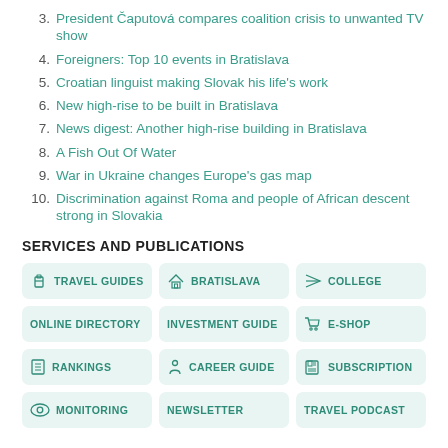3. President Čaputová compares coalition crisis to unwanted TV show
4. Foreigners: Top 10 events in Bratislava
5. Croatian linguist making Slovak his life's work
6. New high-rise to be built in Bratislava
7. News digest: Another high-rise building in Bratislava
8. A Fish Out Of Water
9. War in Ukraine changes Europe's gas map
10. Discrimination against Roma and people of African descent strong in Slovakia
SERVICES AND PUBLICATIONS
TRAVEL GUIDES, BRATISLAVA, COLLEGE, ONLINE DIRECTORY, INVESTMENT GUIDE, E-SHOP, RANKINGS, CAREER GUIDE, SUBSCRIPTION, MONITORING, NEWSLETTER, TRAVEL PODCAST